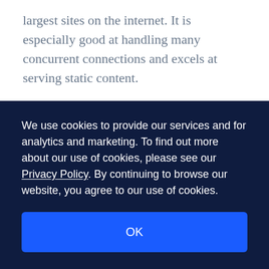largest sites on the internet. It is especially good at handling many concurrent connections and excels at serving static content.
While many users are aware of Nginx's capabilities, new users are often confused by some of the conventions they find in Nginx configuration files. In this guide, we will focus on discussing the basic structure of an Nginx configuration file along with some guidelines on how to design your files.
We use cookies to provide our services and for analytics and marketing. To find out more about our use of cookies, please see our Privacy Policy. By continuing to browse our website, you agree to our use of cookies.
OK